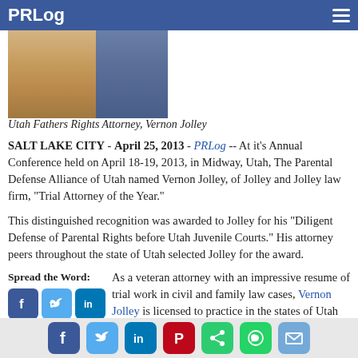PRLog
[Figure (photo): Photo of Utah Fathers Rights Attorney Vernon Jolley in a tan suit with a colorful tie]
Utah Fathers Rights Attorney, Vernon Jolley
SALT LAKE CITY - April 25, 2013 - PRLog -- At it's Annual Conference held on April 18-19, 2013, in Midway, Utah, The Parental Defense Alliance of Utah named Vernon Jolley, of Jolley and Jolley law firm, "Trial Attorney of the Year."
This distinguished recognition was awarded to Jolley for his “Diligent Defense of Parental Rights before Utah Juvenile Courts.” His attorney peers throughout the state of Utah selected Jolley for the award.
Spread the Word:
As a veteran attorney with an impressive resume of trial work in civil and family law cases, Vernon Jolley is licensed to practice in the states of Utah and California, He is also admitted to appear before various federal district courts, the Ninth and Tenth Circuit Courts of Appeal, and the United States Supreme Court in Washington, D.C.
Social share icons: Facebook, Twitter, LinkedIn, Pinterest, Share, WhatsApp, Email